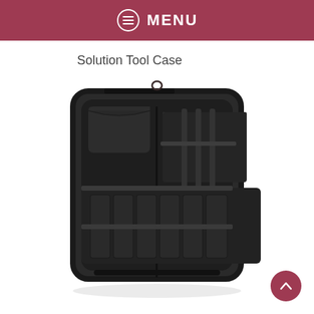MENU
Solution Tool Case
[Figure (photo): An open black nylon tool case/roll viewed from above, showing multiple pockets, elastic tool holders, a zipper closure, and a small hanging loop at the top.]